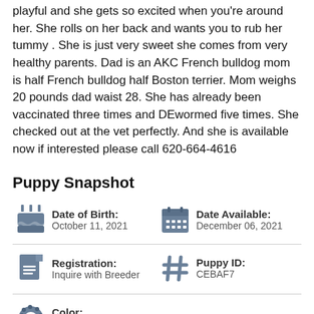playful and she gets so excited when you're around her. She rolls on her back and wants you to rub her tummy . She is just very sweet she comes from very healthy parents. Dad is an AKC French bulldog mom is half French bulldog half Boston terrier. Mom weighs 20 pounds dad waist 28. She has already been vaccinated three times and DEwormed five times. She checked out at the vet perfectly. And she is available now if interested please call 620-664-4616
Puppy Snapshot
Date of Birth: October 11, 2021
Date Available: December 06, 2021
Registration: Inquire with Breeder
Puppy ID: CEBAF7
Color: As Pictured